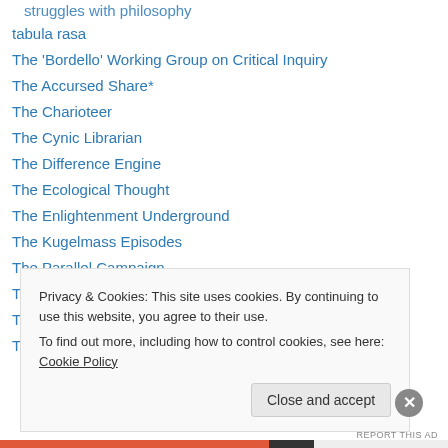struggles with philosophy
tabula rasa
The 'Bordello' Working Group on Critical Inquiry
The Accursed Share*
The Charioteer
The Cynic Librarian
The Difference Engine
The Ecological Thought
The Enlightenment Underground
The Kugelmass Episodes
The Parallel Campaign
The Pinocchio Theory
The Psychoanalytic Field
The Twins Shadow
Privacy & Cookies: This site uses cookies. By continuing to use this website, you agree to their use. To find out more, including how to control cookies, see here: Cookie Policy
Close and accept